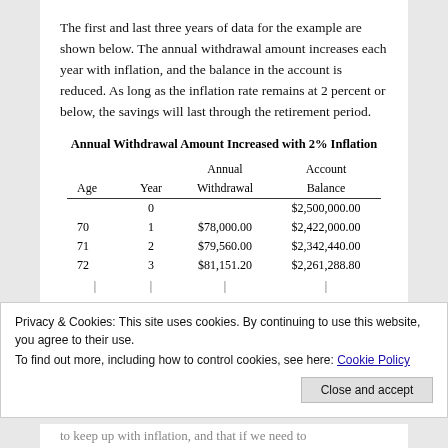The first and last three years of data for the example are shown below. The annual withdrawal amount increases each year with inflation, and the balance in the account is reduced. As long as the inflation rate remains at 2 percent or below, the savings will last through the retirement period.
Annual Withdrawal Amount Increased with 2% Inflation
| Age | Year | Annual Withdrawal | Account Balance |
| --- | --- | --- | --- |
|  | 0 |  | $2,500,000.00 |
| 70 | 1 | $78,000.00 | $2,422,000.00 |
| 71 | 2 | $79,560.00 | $2,342,440.00 |
| 72 | 3 | $81,151.20 | $2,261,288.80 |
Privacy & Cookies: This site uses cookies. By continuing to use this website, you agree to their use.
To find out more, including how to control cookies, see here: Cookie Policy
to keep up with inflation, and that if we need to